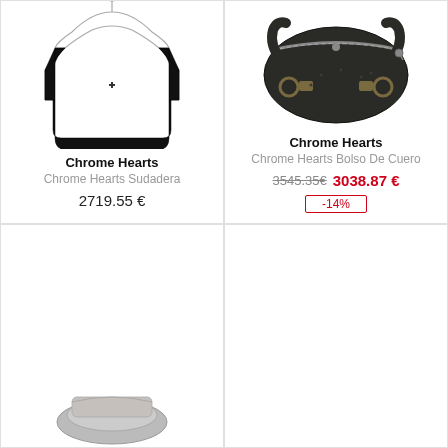[Figure (photo): Black Chrome Hearts sweater/sudadera hanging on a hanger against white background]
Chrome Hearts
Chrome Hearts Sudadera
2719.55 €
[Figure (photo): Dark leather Chrome Hearts handbag with zippers and metal hardware against white background]
Chrome Hearts
Chrome Hearts Bolso De Cuero
3545.35€
3038.87 €
-14%
[Figure (photo): Partial view of another Chrome Hearts product at the bottom of the page, cropped]